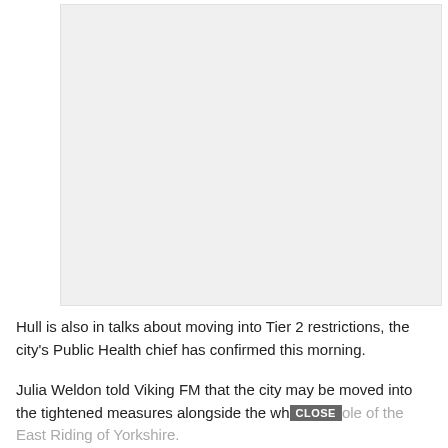[Figure (other): Gray placeholder rectangle for an advertisement or image]
Hull is also in talks about moving into Tier 2 restrictions, the city's Public Health chief has confirmed this morning.
Julia Weldon told Viking FM that the city may be moved into the tightened measures alongside the whole of the East Riding of Yorkshire.